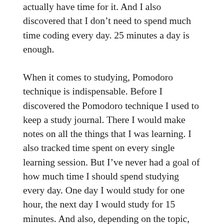actually have time for it. And I also discovered that I don't need to spend much time coding every day. 25 minutes a day is enough.
When it comes to studying, Pomodoro technique is indispensable. Before I discovered the Pomodoro technique I used to keep a study journal. There I would make notes on all the things that I was learning. I also tracked time spent on every single learning session. But I've never had a goal of how much time I should spend studying every day. One day I would study for one hour, the next day I would study for 15 minutes. And also, depending on the topic, many times I had nothing to write down in my journal. So there were long sequences of entries which only had the name of the topic and time spent on studying that topic. Over time I lost interest in tracking my progress in this way. I didn't give it up though, it's just became burdensome to me. Because